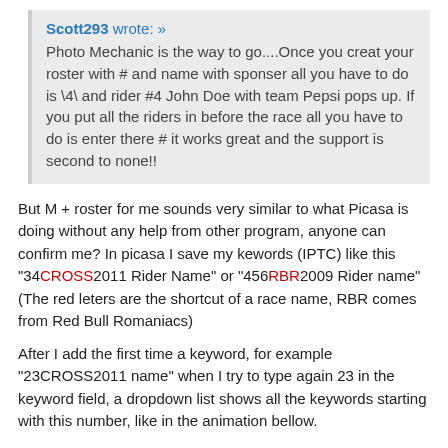Scott293 wrote: »
Photo Mechanic is the way to go....Once you creat your roster with # and name with sponser all you have to do is \4\ and rider #4 John Doe with team Pepsi pops up. If you put all the riders in before the race all you have to do is enter there # it works great and the support is second to none!!
But M + roster for me sounds very similar to what Picasa is doing without any help from other program, anyone can confirm me? In picasa I save my kewords (IPTC) like this "34CROSS2011 Rider Name" or "456RBR2009 Rider name" (The red leters are the shortcut of a race name, RBR comes from Red Bull Romaniacs)
After I add the first time a keyword, for example "23CROSS2011 name" when I try to type again 23 in the keyword field, a dropdown list shows all the keywords starting with this number, like in the animation bellow.
Is your workflow the same with PM and roster? If yes than